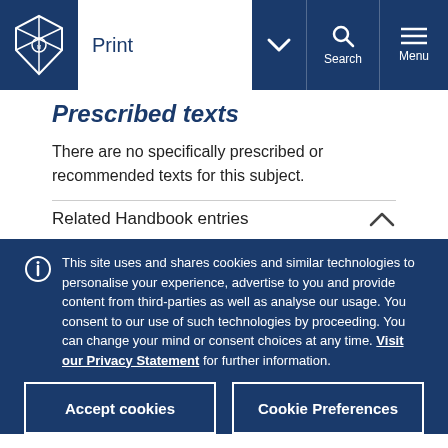Print | Search | Menu — University of Melbourne navigation bar
Prescribed texts
There are no specifically prescribed or recommended texts for this subject.
Related Handbook entries
This site uses and shares cookies and similar technologies to personalise your experience, advertise to you and provide content from third-parties as well as analyse our usage. You consent to our use of such technologies by proceeding. You can change your mind or consent choices at any time. Visit our Privacy Statement for further information.
Accept cookies | Cookie Preferences